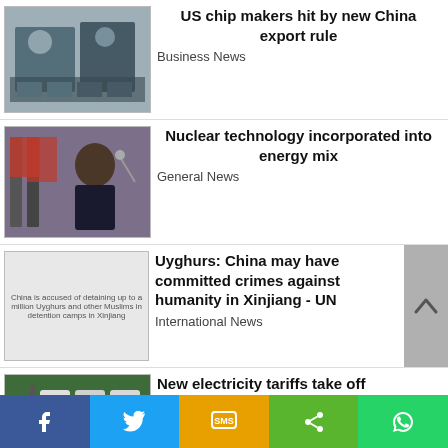[Figure (photo): People in masks at a technology exhibition with electronics/chips on display tables]
US chip makers hit by new China export rule
Business News
[Figure (photo): A man in a suit speaking at a podium with flags in the background]
Nuclear technology incorporated into energy mix
General News
[Figure (photo): China is accused of detaining up to a million Uyghurs and other Muslims in detention camps in Xinjiang]
Uyghurs: China may have committed crimes against humanity in Xinjiang - UN
International News
[Figure (photo): Electricity meters mounted on a pole with green foliage in background]
New electricity tariffs take off
General News